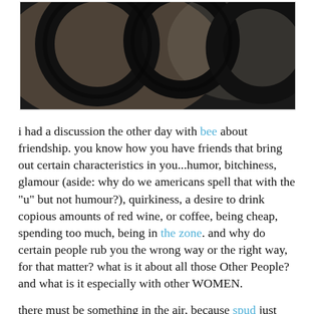[Figure (photo): Close-up photograph of dark metal chain links or rings with a blurred warm background]
i had a discussion the other day with bee about friendship. you know how you have friends that bring out certain characteristics in you...humor, bitchiness, glamour (aside: why do we americans spell that with the "u" but not humour?), quirkiness, a desire to drink copious amounts of red wine, or coffee, being cheap, spending too much, being in the zone. and why do certain people rub you the wrong way or the right way, for that matter? what is it about all those Other People? and what is it especially with other WOMEN.
there must be something in the air, because spud just wrote about this too. i do regularly talk to spud and i know she'd been brewing the thoughts for awhile, but i have too. i loved